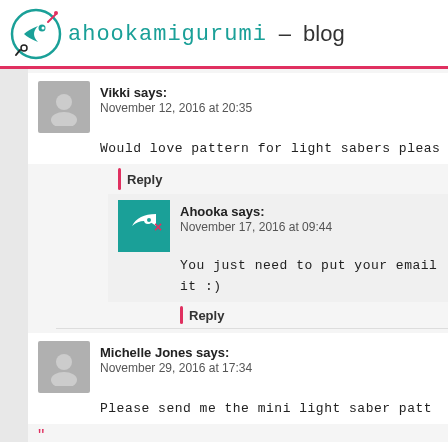ahookamigurumi – blog
Vikki says:
November 12, 2016 at 20:35
Would love pattern for light sabers please
Reply
Ahooka says:
November 17, 2016 at 09:44
You just need to put your email
it :)
Reply
Michelle Jones says:
November 29, 2016 at 17:34
Please send me the mini light saber patt